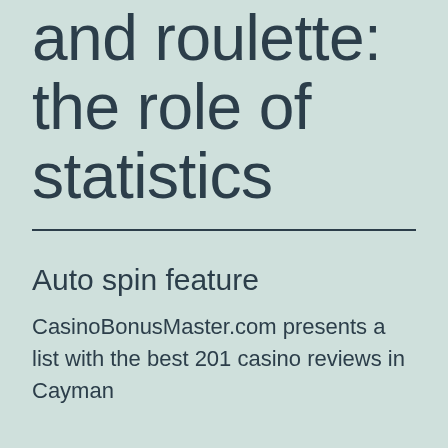and roulette: the role of statistics
Auto spin feature
CasinoBonusMaster.com presents a list with the best 201 casino reviews in Cayman